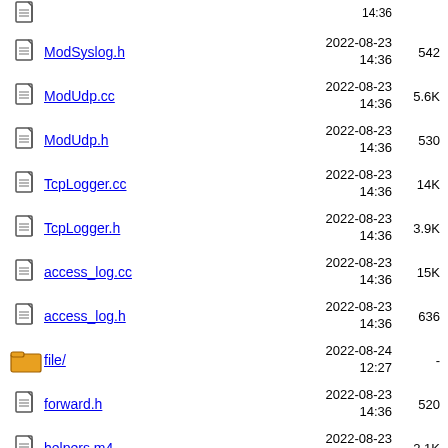ModSyslog.h  2022-08-23 14:36  542
ModUdp.cc  2022-08-23 14:36  5.6K
ModUdp.h  2022-08-23 14:36  530
TcpLogger.cc  2022-08-23 14:36  14K
TcpLogger.h  2022-08-23 14:36  3.9K
access_log.cc  2022-08-23 14:36  15K
access_log.h  2022-08-23 14:36  636
file/  2022-08-24 12:27  -
forward.h  2022-08-23 14:36  520
helpers.m4  2022-08-23 14:36  2.1K